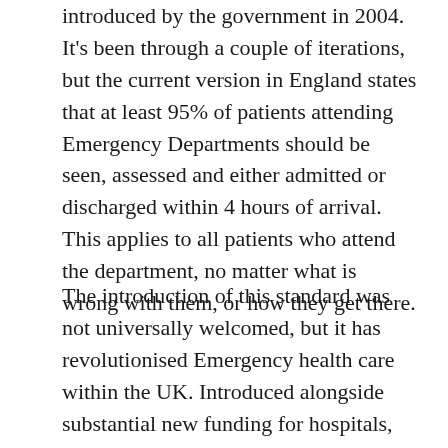introduced by the government in 2004. It's been through a couple of iterations, but the current version in England states that at least 95% of patients attending Emergency Departments should be seen, assessed and either admitted or discharged within 4 hours of arrival. This applies to all patients who attend the department, no matter what is wrong with them, or how they get there.
The introduction of this standard was not universally welcomed, but it has revolutionised Emergency health care within the UK. Introduced alongside substantial new funding for hospitals, the service improved to the point that patients no longer spent hours or even days on hospital trolleys in corridors, waiting for beds in the hospital wards. The limited amount of research in this